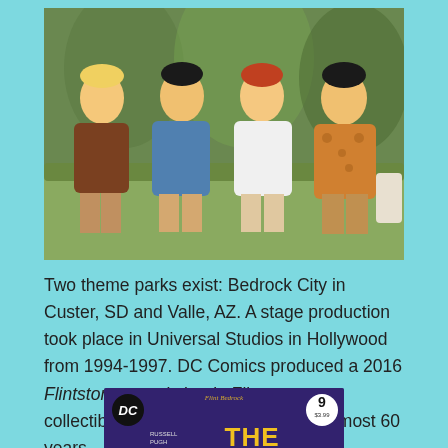[Figure (photo): Four people dressed as Flintstones characters sitting on a couch: Barney Rubble, Betty Rubble, Wilma Flintstone, and Fred Flintstone in costume]
Two theme parks exist: Bedrock City in Custer, SD and Valle, AZ. A stage production took place in Universal Studios in Hollywood from 1994-1997. DC Comics produced a 2016 Flintstones comic book. Flintstones collectibles have been produced for almost 60 years.
[Figure (photo): Cover of The Flintstones DC Comics issue 9, $3.99, with creators Russell, Pugh, Chuckry listed, showing the title THE FLINTSTONES in yellow letters on a dark purple/blue background with a Fred Flintstone Bedrock City banner at top]